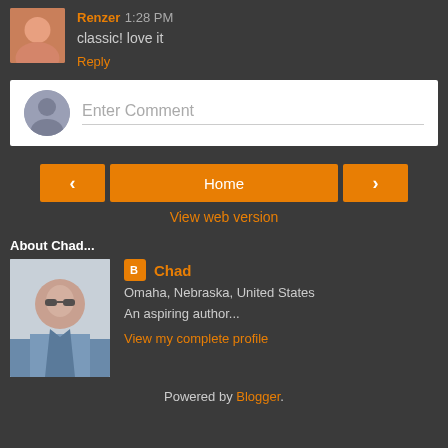Renzer 1:28 PM
classic! love it
Reply
[Figure (other): Comment entry box with user avatar placeholder and 'Enter Comment' text field]
[Figure (other): Navigation buttons: left arrow, Home, right arrow]
View web version
About Chad...
[Figure (photo): Photo of Chad, a man in a blue shirt wearing sunglasses]
Chad
Omaha, Nebraska, United States
An aspiring author...
View my complete profile
Powered by Blogger.